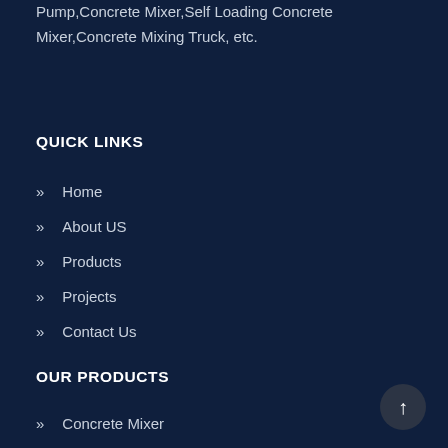Pump,Concrete Mixer,Self Loading Concrete Mixer,Concrete Mixing Truck, etc.
QUICK LINKS
» Home
» About US
» Products
» Projects
» Contact Us
OUR PRODUCTS
» Concrete Mixer